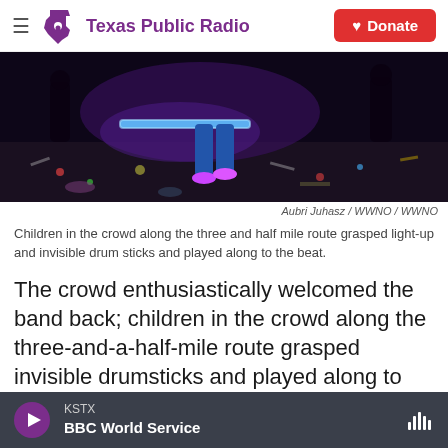Texas Public Radio | Donate
[Figure (photo): Dark nighttime scene of a crowd at a parade or festival. Person in jeans and purple-lit shoes walking on litter-strewn ground with colorful confetti and debris. Purple and blue lighting visible in the background with other figures.]
Aubri Juhasz / WWNO / WWNO
Children in the crowd along the three and half mile route grasped light-up and invisible drum sticks and played along to the beat.
The crowd enthusiastically welcomed the band back; children in the crowd along the three-and-a-half-mile route grasped invisible drumsticks and played along to the beat. And Crosby led with a silver scepter in hand, raising his knees almost to
KSTX | BBC World Service